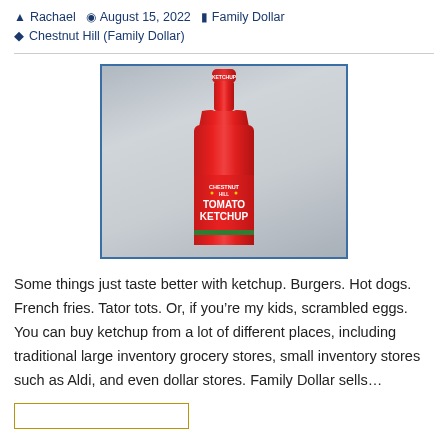Rachael  August 15, 2022  Family Dollar  Chestnut Hill (Family Dollar)
[Figure (photo): A bottle of Chestnut Hill brand Tomato Ketchup against a gray background, showing the red plastic bottle with a red cap labeled KETCHUP and a label reading CHESTNUT HILL TOMATO KETCHUP]
Some things just taste better with ketchup. Burgers. Hot dogs. French fries. Tator tots. Or, if you’re my kids, scrambled eggs. You can buy ketchup from a lot of different places, including traditional large inventory grocery stores, small inventory stores such as Aldi, and even dollar stores. Family Dollar sells…